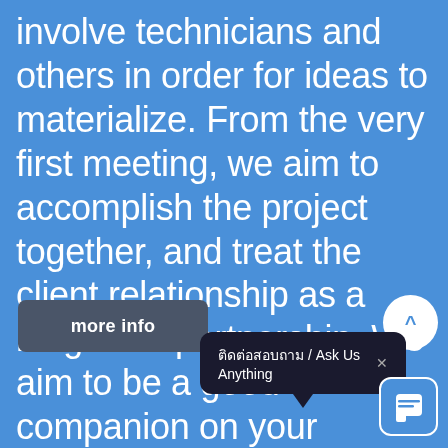involve technicians and others in order for ideas to materialize. From the very first meeting, we aim to accomplish the project together, and treat the client relationship as a long-term partnership. We aim to be a good companion on your journey, and walk by your side.
more info
ติดต่อสอบถาม / Ask Us Anything